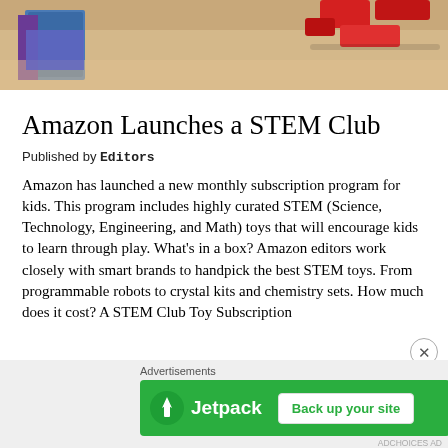[Figure (photo): Photo of red toy blocks/objects on a wooden surface with colorful books or cards visible in the background, cropped at top.]
Amazon Launches a STEM Club
Published by Editors
Amazon has launched a new monthly subscription program for kids. This program includes highly curated STEM (Science, Technology, Engineering, and Math) toys that will encourage kids to learn through play. What's in a box? Amazon editors work closely with smart brands to handpick the best STEM toys. From programmable robots to crystal kits and chemistry sets. How much does it cost? A STEM Club Toy Subscription
[Figure (screenshot): Jetpack advertisement banner reading 'Back up your site' with green background and Jetpack logo.]